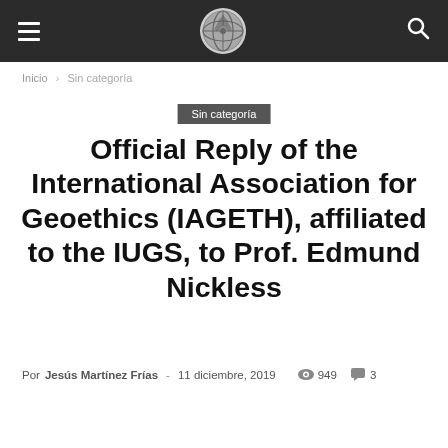Navigation bar with hamburger menu, logo, and search icon
Inicio › Sin categoría
Sin categoría
Official Reply of the International Association for Geoethics (IAGETH), affiliated to the IUGS, to Prof. Edmund Nickless
Por Jesús Martínez Frías - 11 diciembre, 2019  949  3